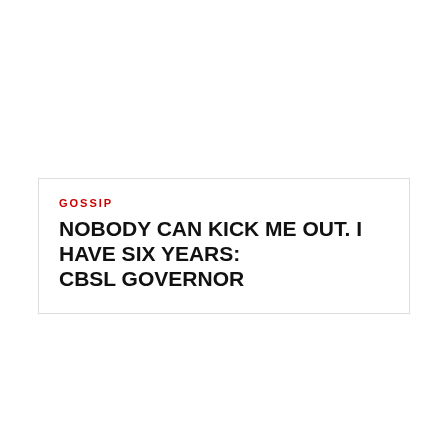GOSSIP
NOBODY CAN KICK ME OUT. I HAVE SIX YEARS: CBSL GOVERNOR